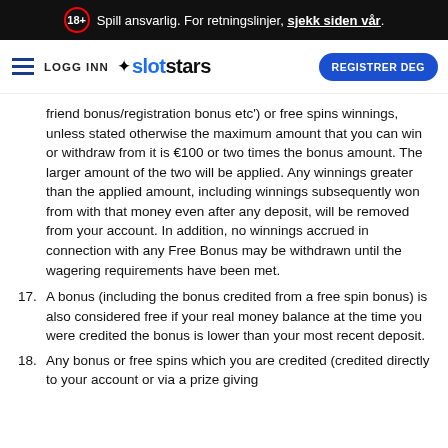18+ Spill ansvarlig. For retningslinjer, sjekk siden vår.
LOGG INN slotstars REGISTRER DEG
friend bonus/registration bonus etc') or free spins winnings, unless stated otherwise the maximum amount that you can win or withdraw from it is €100 or two times the bonus amount. The larger amount of the two will be applied. Any winnings greater than the applied amount, including winnings subsequently won from with that money even after any deposit, will be removed from your account. In addition, no winnings accrued in connection with any Free Bonus may be withdrawn until the wagering requirements have been met.
17. A bonus (including the bonus credited from a free spin bonus) is also considered free if your real money balance at the time you were credited the bonus is lower than your most recent deposit.
18. Any bonus or free spins which you are credited (credited directly to your account or via a prize giving